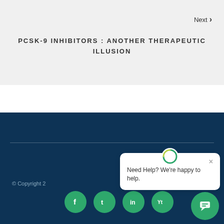Next ›
PCSK-9 INHIBITORS : ANOTHER THERAPEUTIC ILLUSION
© Copyright 2...
[Figure (screenshot): Social media icon buttons (Facebook, Twitter, LinkedIn, YouTube) as green circles, plus a chat widget popup saying 'Need Help? We're happy to help.']